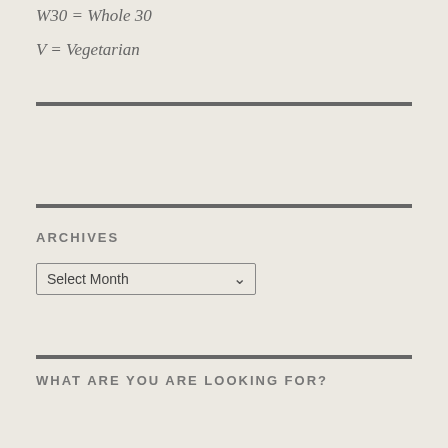W30 = Whole 30
V = Vegetarian
ARCHIVES
Select Month
WHAT ARE YOU ARE LOOKING FOR?